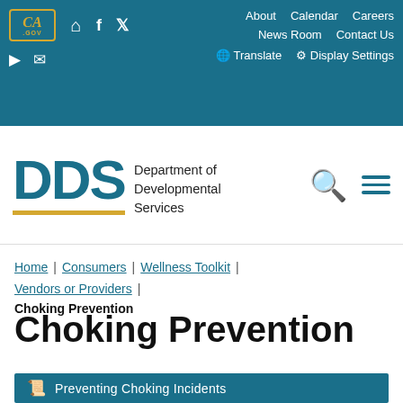California Department of Developmental Services website header navigation: About, Calendar, Careers, News Room, Contact Us, Translate, Display Settings
[Figure (logo): DDS - Department of Developmental Services logo with teal lettering and gold underline]
Home | Consumers | Wellness Toolkit | Vendors or Providers | Choking Prevention
Choking Prevention
Preventing Choking Incidents